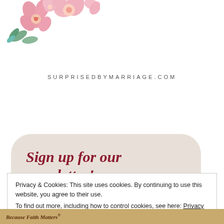[Figure (illustration): Pink floral watercolor illustration in top-left corner with blossoms and green leaves]
SURPRISEDBYMARRIAGE.COM
Sign up for our newsletter!
Privacy & Cookies: This site uses cookies. By continuing to use this website, you agree to their use.
To find out more, including how to control cookies, see here: Privacy Policy
Close and accept
Because Faith Matters®